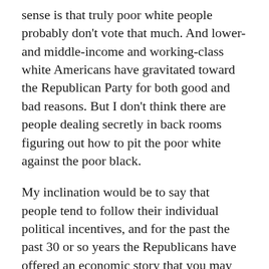sense is that truly poor white people probably don't vote that much. And lower- and middle-income and working-class white Americans have gravitated toward the Republican Party for both good and bad reasons. But I don't think there are people dealing secretly in back rooms figuring out how to pit the poor white against the poor black.
My inclination would be to say that people tend to follow their individual political incentives, and for the past the past 30 or so years the Republicans have offered an economic story that you may not agree with, but at least up until the George W. Bush administration, produced relatively positive economic outcomes when both Republicans and Democrats were in office.
My sense is that where Trump really comes from is